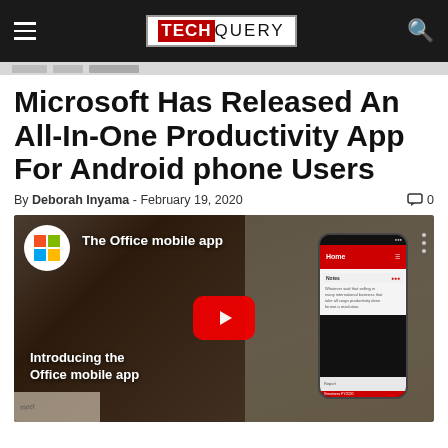TECHQUERY
Microsoft Has Released An All-In-One Productivity App For Android phone Users
By Deborah Inyama - February 19, 2020  🗨 0
[Figure (screenshot): YouTube video thumbnail for 'The Office mobile app' showing Microsoft logo circle, phone mockup with Home and Notes screens (red header), play button, and text 'Introducing the Office mobile app' overlaid on dark background imagery.]